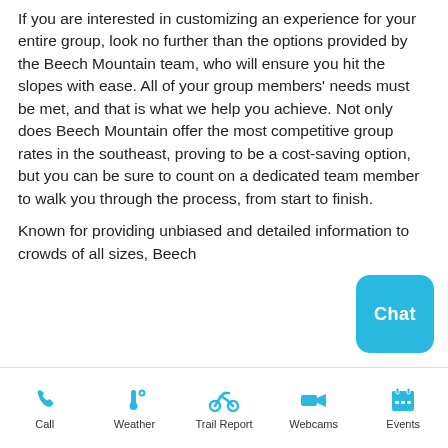If you are interested in customizing an experience for your entire group, look no further than the options provided by the Beech Mountain team, who will ensure you hit the slopes with ease. All of your group members' needs must be met, and that is what we help you achieve. Not only does Beech Mountain offer the most competitive group rates in the southeast, proving to be a cost-saving option, but you can be sure to count on a dedicated team member to walk you through the process, from start to finish.
Known for providing unbiased and detailed information to crowds of all sizes, Beech
[Figure (other): Blue 'Chat' button in the bottom right area of the content]
Call | Weather | Trail Report | Webcams | Events